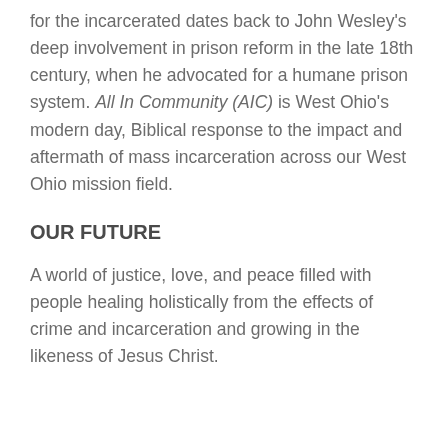for the incarcerated dates back to John Wesley's deep involvement in prison reform in the late 18th century, when he advocated for a humane prison system. All In Community (AIC) is West Ohio's modern day, Biblical response to the impact and aftermath of mass incarceration across our West Ohio mission field.
OUR FUTURE
A world of justice, love, and peace filled with people healing holistically from the effects of crime and incarceration and growing in the likeness of Jesus Christ.